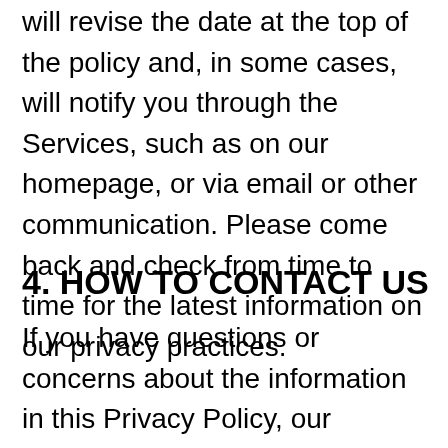will revise the date at the top of the policy and, in some cases, will notify you through the Services, such as on our homepage, or via email or other communication. Please come back and check from time to time for the latest information on our privacy practices.
4. HOW TO CONTACT US
If you have questions or concerns about the information in this Privacy Policy, our handling of your personal data more generally, your choices and rights regarding such use, or wish to exercise your rights